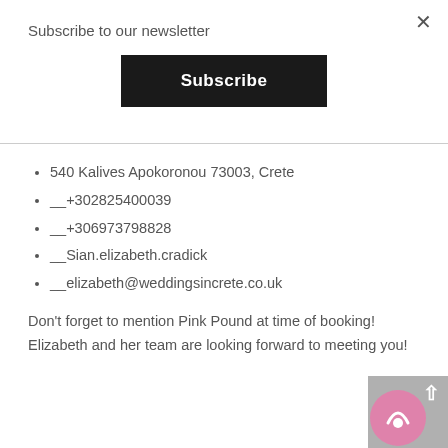Subscribe to our newsletter
Subscribe
540 Kalives Apokoronou 73003, Crete
__+302825400039
__+306973798828
__Sian.elizabeth.cradick
__elizabeth@weddingsincrete.co.uk
Don't forget to mention Pink Pound at time of booking! Elizabeth and her team are looking forward to meeting you!